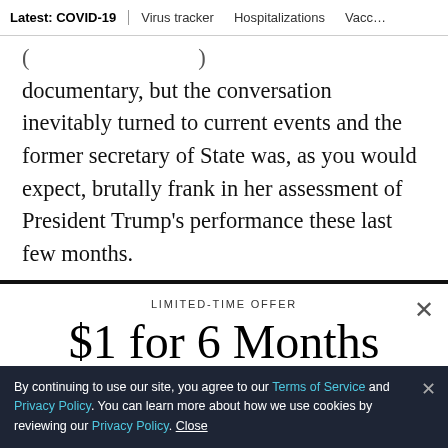Latest: COVID-19 | Virus tracker | Hospitalizations | Vacc…
( … ) documentary, but the conversation inevitably turned to current events and the former secretary of State was, as you would expect, brutally frank in her assessment of President Trump's performance these last few months.
LIMITED-TIME OFFER
$1 for 6 Months
SUBSCRIBE NOW
By continuing to use our site, you agree to our Terms of Service and Privacy Policy. You can learn more about how we use cookies by reviewing our Privacy Policy. Close